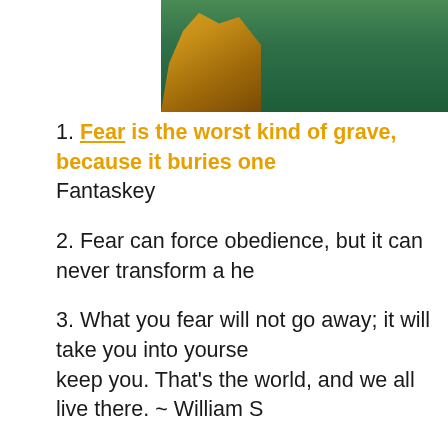[Figure (photo): Partial photo of rocky cliff and green water/sea, cropped at top of page]
1. Fear is the worst kind of grave, because it buries one alive. ~ Beth Fantaskey
2. Fear can force obedience, but it can never transform a he...
3. What you fear will not go away; it will take you into yourself and keep you. That's the world, and we all live there. ~ William S...
4. Fear kills everything. Your mind, your heart, your imaginat...
5. Children have a lesson adults should learn, to not be asha... get up and try again. Most of us adults are so afraid, so caut... therefore so shrinking and rigid and afraid that it is why so m... middle-aged adults have resigned themselves to failure. ~ M...
6. It's better to die laughing than to live each moment in...
7. One is never afraid of the unknown; one is afraid of the kn...